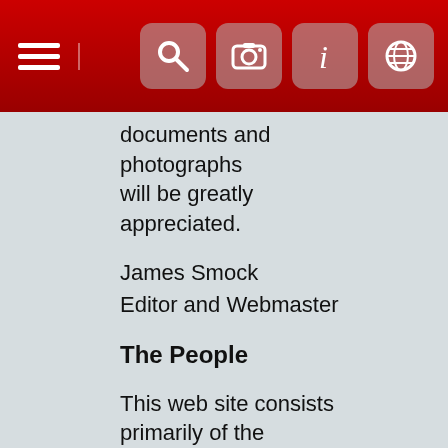[Figure (screenshot): Red navigation bar with hamburger menu icon on the left and four icon buttons (search, camera, info, globe) on the right]
documents and photographs will be greatly appreciated.
James Smock
Editor and Webmaster
The People
This web site consists primarily of the descendants of the early Polish settlers of southeast Texas and their families. On most entries, I have included the source of the information, but if you see something that you know is wrong, let me know.
Polish Names
When compiling some of this data, I used transcripts of the Catholic church records in the Galicia area of Austria Poland. These records were hand written in Latin, not Polish, and the names of the people were written in the Latin version of the Polish names...